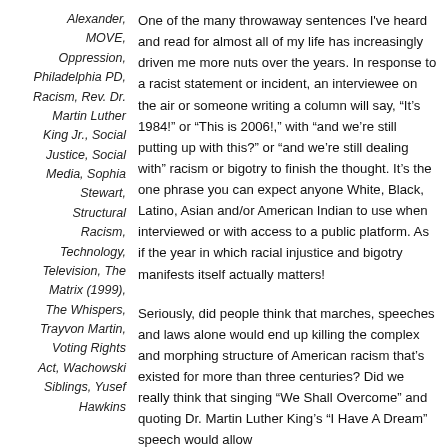Alexander, MOVE, Oppression, Philadelphia PD, Racism, Rev. Dr. Martin Luther King Jr., Social Justice, Social Media, Sophia Stewart, Structural Racism, Technology, Television, The Matrix (1999), The Whispers, Trayvon Martin, Voting Rights Act, Wachowski Siblings, Yusef Hawkins
One of the many throwaway sentences I've heard and read for almost all of my life has increasingly driven me more nuts over the years. In response to a racist statement or incident, an interviewee on the air or someone writing a column will say, “It's 1984!” or “This is 2006!,” with “and we're still putting up with this?” or “and we're still dealing with” racism or bigotry to finish the thought. It’s the one phrase you can expect anyone White, Black, Latino, Asian and/or American Indian to use when interviewed or with access to a public platform. As if the year in which racial injustice and bigotry manifests itself actually matters!
Seriously, did people think that marches, speeches and laws alone would end up killing the complex and morphing structure of American racism that’s existed for more than three centuries? Did we really think that singing “We Shall Overcome” and quoting Dr. Martin Luther King’s “I Have A Dream” speech would allow